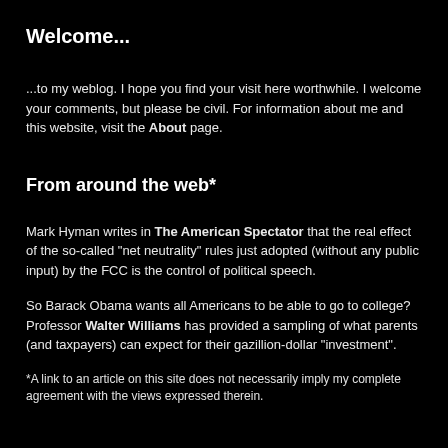Welcome...
...to my weblog. I hope you find your visit here worthwhile. I welcome your comments, but please be civil. For information about me and this website, visit the About page.
From around the web*
Mark Hyman writes in The American Spectator that the real effect of the so-called "net neutrality" rules just adopted (without any public input) by the FCC is the control of political speech.
So Barack Obama wants all Americans to be able to go to college? Professor Walter Williams has provided a sampling of what parents (and taxpayers) can expect for their gazillion-dollar "investment".
*A link to an article on this site does not necessarily imply my complete agreement with the views expressed therein.